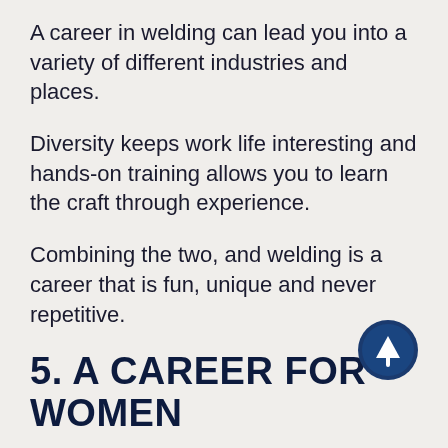A career in welding can lead you into a variety of different industries and places.
Diversity keeps work life interesting and hands-on training allows you to learn the craft through experience.
Combining the two, and welding is a career that is fun, unique and never repetitive.
5. A CAREER FOR WOMEN
[Figure (illustration): Dark blue circle with upward arrow icon, navigation button]
Skills, training and credentials are important attributes for a craft